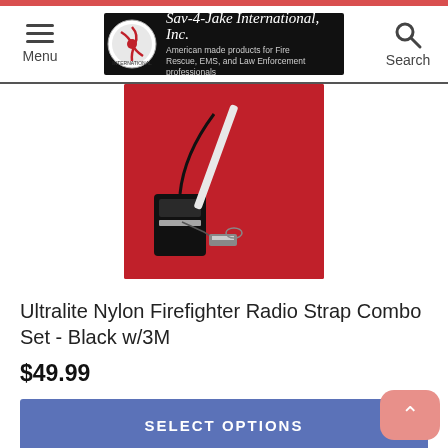Sav-A-Jake International, Inc. — American made products for Fire Rescue, EMS, and Law Enforcement professionals
[Figure (photo): Product photo of Ultralite Nylon Firefighter Radio Strap Combo Set in black with 3M reflective tape, displayed on a red background. Shows a black nylon radio strap with attached components and a separate glowstick holder.]
Ultralite Nylon Firefighter Radio Strap Combo Set - Black w/3M
$49.99
SELECT OPTIONS